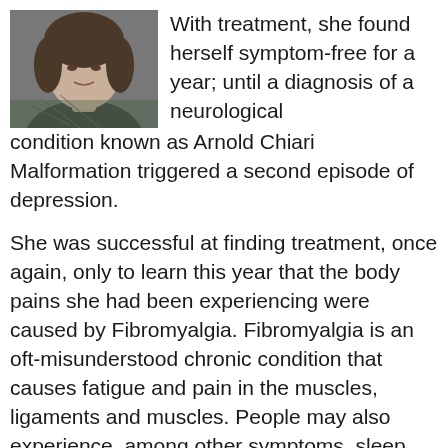[Figure (photo): Black and white portrait photo of a woman]
With treatment, she found herself symptom-free for a year; until a diagnosis of a neurological condition known as Arnold Chiari Malformation triggered a second episode of depression.
She was successful at finding treatment, once again, only to learn this year that the body pains she had been experiencing were caused by Fibromyalgia. Fibromyalgia is an oft-misunderstood chronic condition that causes fatigue and pain in the muscles, ligaments and muscles. People may also experience, among other symptoms, sleep disturbances, gastrointestinal problems and anxiety.
Candice refers to the dual diagnoses of depression and fibromyalgia as a “double whammy.” “With fibromyalgia I feel isolated because people can’t see a